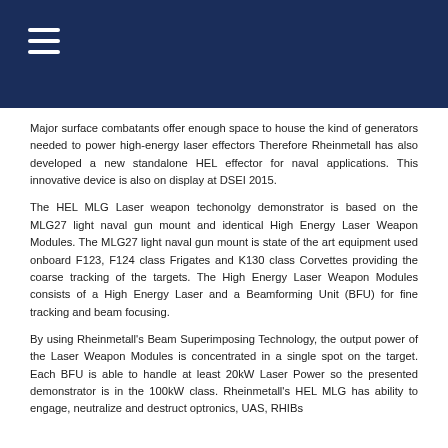Major surface combatants offer enough space to house the kind of generators needed to power high-energy laser effectors Therefore Rheinmetall has also developed a new standalone HEL effector for naval applications. This innovative device is also on display at DSEI 2015.
The HEL MLG Laser weapon techonolgy demonstrator is based on the MLG27 light naval gun mount and identical High Energy Laser Weapon Modules. The MLG27 light naval gun mount is state of the art equipment used onboard F123, F124 class Frigates and K130 class Corvettes providing the coarse tracking of the targets. The High Energy Laser Weapon Modules consists of a High Energy Laser and a Beamforming Unit (BFU) for fine tracking and beam focusing.
By using Rheinmetall's Beam Superimposing Technology, the output power of the Laser Weapon Modules is concentrated in a single spot on the target. Each BFU is able to handle at least 20kW Laser Power so the presented demonstrator is in the 100kW class. Rheinmetall's HEL MLG has ability to engage, neutralize and destruct optronics, UAS, RHIBs